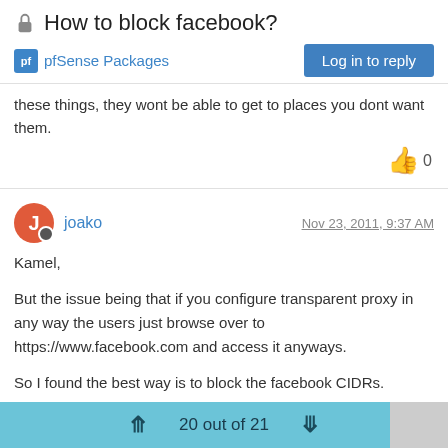How to block facebook?
pfSense Packages
these things, they wont be able to get to places you dont want them.
joako  Nov 23, 2011, 9:37 AM
Kamel,
But the issue being that if you configure transparent proxy in any way the users just browse over to https://www.facebook.com and access it anyways.
So I found the best way is to block the facebook CIDRs.
Regards,
20 out of 21